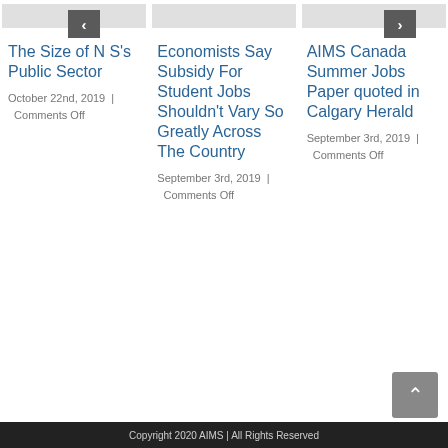[Figure (other): Three gray image placeholders at top of page]
The Size of NS's Public Sector
October 22nd, 2019  |  Comments Off
Economists Say Subsidy For Student Jobs Shouldn't Vary So Greatly Across The Country
September 3rd, 2019  |  Comments Off
AIMS Canada Summer Jobs Paper quoted in Calgary Herald
September 3rd, 2019  |  Comments Off
Copyright 2020 AIMS | All Rights Reserved